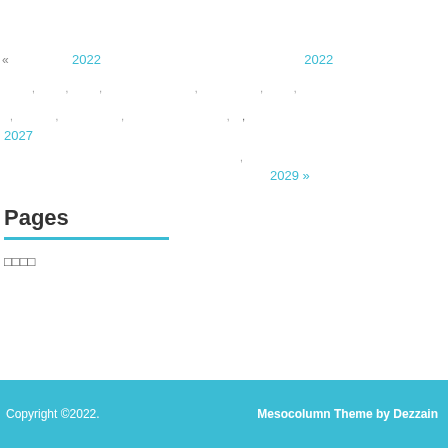« 2022 2022
, , , , , ,
, , , , ,
2027
,
2029 »
Pages
□□□□
Copyright ©2022. Mesocolumn Theme by Dezzain